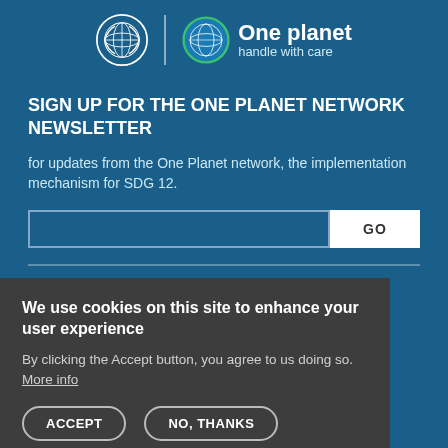[Figure (logo): UN logo and One Planet handle with care logo in the header]
SIGN UP FOR THE ONE PLANET NETWORK NEWSLETTER
for updates from the One Planet network, the implementation mechanism for SDG 12.
We use cookies on this site to enhance your user experience
By clicking the Accept button, you agree to us doing so. More info
PAGES
SDG
Countries